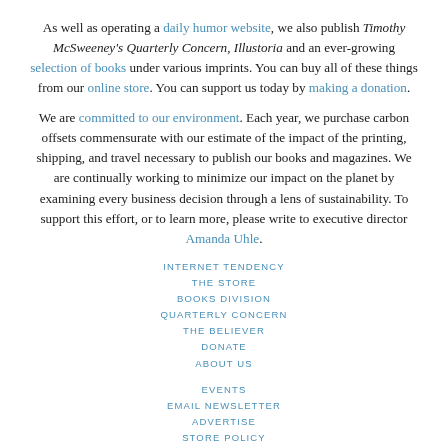As well as operating a daily humor website, we also publish Timothy McSweeney's Quarterly Concern, Illustoria and an ever-growing selection of books under various imprints. You can buy all of these things from our online store. You can support us today by making a donation.
We are committed to our environment. Each year, we purchase carbon offsets commensurate with our estimate of the impact of the printing, shipping, and travel necessary to publish our books and magazines. We are continually working to minimize our impact on the planet by examining every business decision through a lens of sustainability. To support this effort, or to learn more, please write to executive director Amanda Uhle.
INTERNET TENDENCY
THE STORE
BOOKS DIVISION
QUARTERLY CONCERN
THE BELIEVER
DONATE
ABOUT US
EVENTS
EMAIL NEWSLETTER
ADVERTISE
STORE POLICY
CONTACT US
INTERNSHIPS
SUBMISSION GUIDELINES